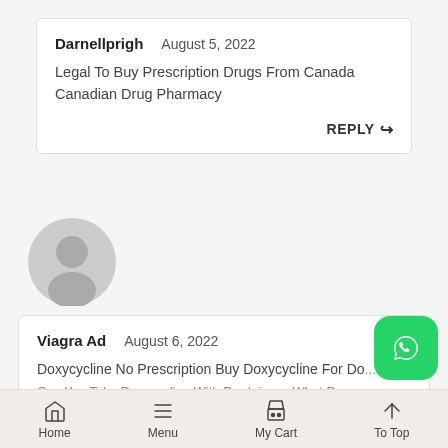Darnellprigh   August 5, 2022
Legal To Buy Prescription Drugs From Canada Canadian Drug Pharmacy
REPLY
[Figure (illustration): Gray circular user avatar / profile placeholder icon]
Viagra Ad   August 6, 2022
Doxycycline No Prescription Buy Doxycycline For Do...
[Figure (logo): WhatsApp green button icon]
Home   Menu   My Cart   To Top